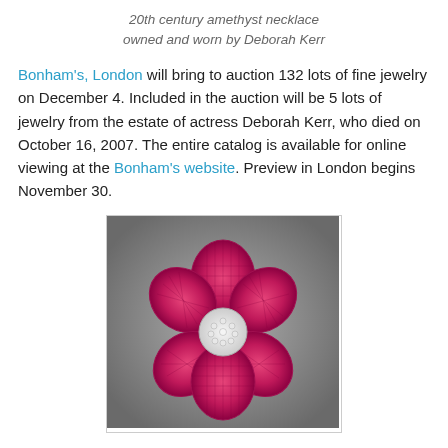20th century amethyst necklace owned and worn by Deborah Kerr
Bonham's, London will bring to auction 132 lots of fine jewelry on December 4. Included in the auction will be 5 lots of jewelry from the estate of actress Deborah Kerr, who died on October 16, 2007. The entire catalog is available for online viewing at the Bonham's website. Preview in London begins November 30.
[Figure (photo): A flower-shaped brooch with pink/ruby gemstone petals set in a mosaic pattern and a central cluster of white diamonds, photographed on a grey gradient background.]